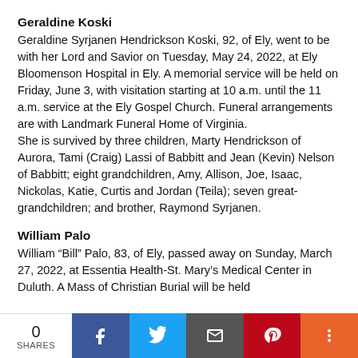Geraldine Koski
Geraldine Syrjanen Hendrickson Koski, 92, of Ely, went to be with her Lord and Savior on Tuesday, May 24, 2022, at Ely Bloomenson Hospital in Ely. A memorial service will be held on Friday, June 3, with visitation starting at 10 a.m. until the 11 a.m. service at the Ely Gospel Church. Funeral arrangements are with Landmark Funeral Home of Virginia.
She is survived by three children, Marty Hendrickson of Aurora, Tami (Craig) Lassi of Babbitt and Jean (Kevin) Nelson of Babbitt; eight grandchildren, Amy, Allison, Joe, Isaac, Nickolas, Katie, Curtis and Jordan (Teila); seven great-grandchildren; and brother, Raymond Syrjanen.
William Palo
William “Bill” Palo, 83, of Ely, passed away on Sunday, March 27, 2022, at Essentia Health-St. Mary’s Medical Center in Duluth. A Mass of Christian Burial will be held
0 SHARES | Facebook | Twitter | Email | Pinterest | More